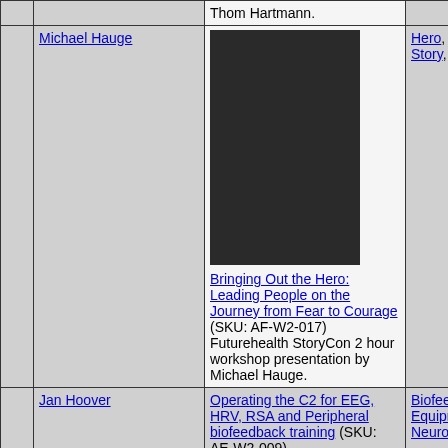|  | Speaker | Presentation | Tags |  |
| --- | --- | --- | --- | --- |
|  |  | Thom Hartmann. |  |  |
|  | Michael Hauge | [photo] Bringing Out the Hero: Leading People on the Journey from Fear to Courage (SKU: AF-W2-017) Futurehealth StoryCon 2 hour workshop presentation by Michael Hauge. | Hero, Heros Journey, Story, Story, StoryTelling |  |
|  | Jan Hoover | Operating the C2 for EEG, HRV, RSA and Peripheral biofeedback training (SKU: AE-W2-009) Futurehealth | Biofeedback Equipment, Equipment Tutorial, I-330 C2, Neurofeedback |  |